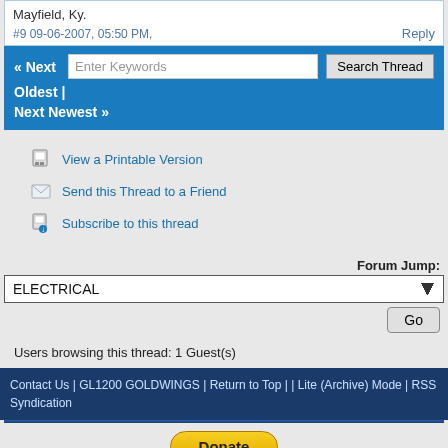Mayfield, Ky.
#9 09-06-2007, 05:50 PM,   Reply
« Next  [Enter Keywords]  [Search Thread]  Oldest | Next Newest »
View a Printable Version
Send this Thread to a Friend
Subscribe to this thread
Forum Jump: ELECTRICAL  Go
Users browsing this thread: 1 Guest(s)
Contact Us | GL1200 GOLDWINGS | Return to Top | | Lite (Archive) Mode | RSS Syndication
Donate  Powered By MyBB. Theme by AJS.
google-site-verification: googled4b4fe31e07b65d8.html